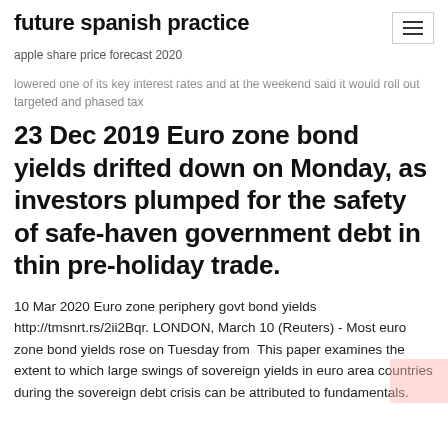future spanish practice
apple share price forecast 2020
lowered one of its key interest rates and at the weekend said it would roll out targeted and phased tax
23 Dec 2019 Euro zone bond yields drifted down on Monday, as investors plumped for the safety of safe-haven government debt in thin pre-holiday trade.
10 Mar 2020 Euro zone periphery govt bond yields http://tmsnrt.rs/2ii2Bqr. LONDON, March 10 (Reuters) - Most euro zone bond yields rose on Tuesday from  This paper examines the extent to which large swings of sovereign yields in euro area countries during the sovereign debt crisis can be attributed to fundamentals.